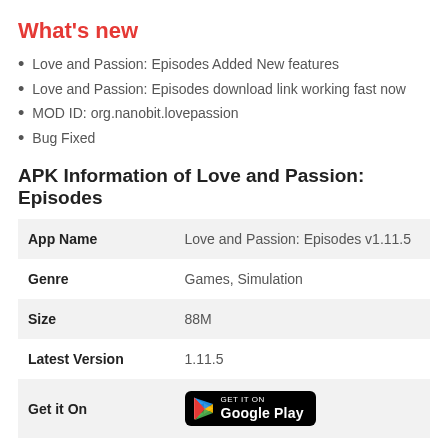What's new
Love and Passion: Episodes Added New features
Love and Passion: Episodes download link working fast now
MOD ID: org.nanobit.lovepassion
Bug Fixed
APK Information of Love and Passion: Episodes
|  |  |
| --- | --- |
| App Name | Love and Passion: Episodes v1.11.5 |
| Genre | Games, Simulation |
| Size | 88M |
| Latest Version | 1.11.5 |
| Get it On | [Google Play badge] |
| Update | January 13, 2022 |